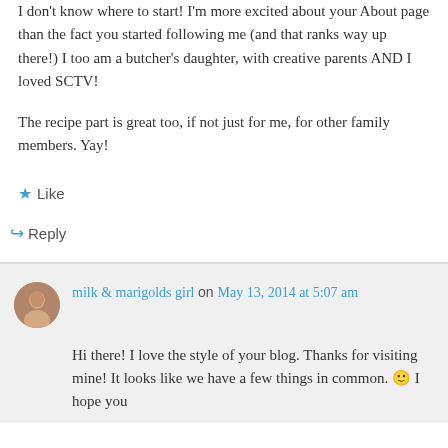I don't know where to start! I'm more excited about your About page than the fact you started following me (and that ranks way up there!) I too am a butcher's daughter, with creative parents AND I loved SCTV!
The recipe part is great too, if not just for me, for other family members. Yay!
★ Like
↪ Reply
milk & marigolds girl on May 13, 2014 at 5:07 am
Hi there! I love the style of your blog. Thanks for visiting mine! It looks like we have a few things in common. 🙂 I hope you